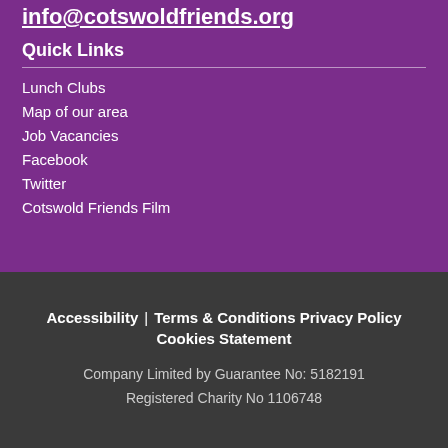info@cotswoldfriends.org
Quick Links
Lunch Clubs
Map of our area
Job Vacancies
Facebook
Twitter
Cotswold Friends Film
Accessibility | Terms & Conditions Privacy Policy Cookies Statement
Company Limited by Guarantee No: 5182191
Registered Charity No 1106748